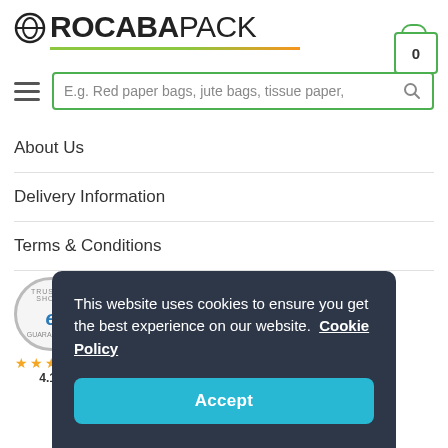[Figure (logo): RocabaPack logo with circular infinity icon, bold ROCABA text and lighter PACK text, with green/orange underline]
[Figure (illustration): Shopping cart icon with 0 badge]
[Figure (illustration): Hamburger menu icon (three horizontal lines)]
E.g. Red paper bags, jute bags, tissue paper,
About Us
Delivery Information
Terms & Conditions
[Figure (illustration): Trusted Shops badge with 'e' logo, 4.17 star rating]
4.17
Loyalty Points
This website uses cookies to ensure you get the best experience on our website.  Cookie Policy
Accept